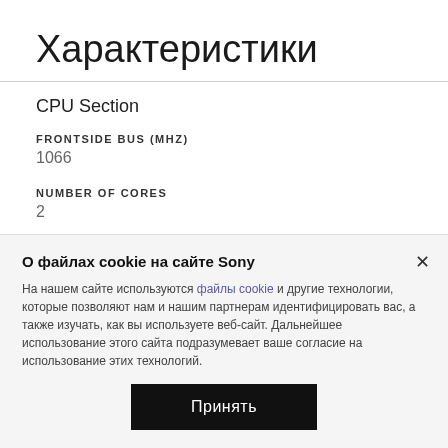Характеристики
CPU Section
FRONTSIDE BUS (MHZ)
1066
NUMBER OF CORES
2
PROCESSOR NAME
Intel® Core™2 Duo Processor T9800 with Enhanced Intel
О файлах cookie на сайте Sony
На нашем сайте используются файлы cookie и другие технологии, которые позволяют нам и нашим партнерам идентифицировать вас, а также изучать, как вы используете веб-сайт. Дальнейшее использование этого сайта подразумевает ваше согласие на использование этих технологий.
Принять